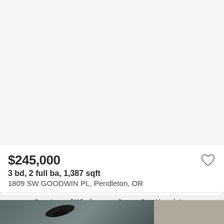[Figure (photo): Light gray/white background area representing a property listing card image placeholder]
$245,000
3 bd, 2 full ba, 1,387 sqft
1809 SW GOODWIN PL, Pendleton, OR
Courtesy of Windermere Group One Hermiston
[Figure (photo): Aerial or ground-level photo with dark objects on gray/teal surface and rocky area in bottom right corner]